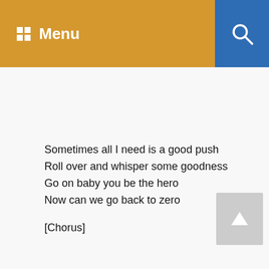Menu
Sometimes all I need is a good push
Roll over and whisper some goodness
Go on baby you be the hero
Now can we go back to zero
[Chorus]